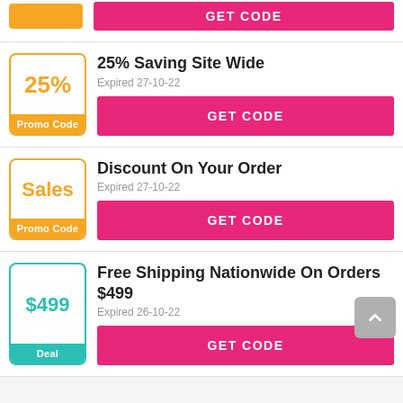[Figure (other): Top partial coupon card showing orange badge and GET CODE pink button (partially visible at top)]
25% Saving Site Wide
Expired 27-10-22
GET CODE
Discount On Your Order
Expired 27-10-22
GET CODE
Free Shipping Nationwide On Orders $499
Expired 26-10-22
GET CODE